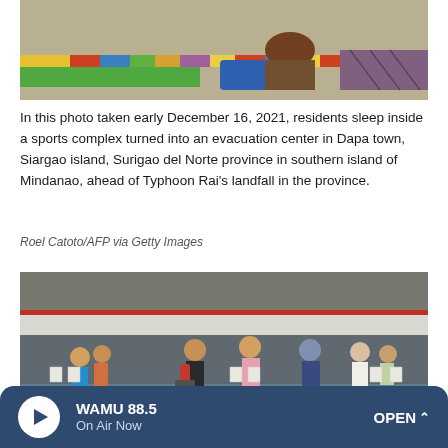[Figure (photo): People sleeping on colorful striped mats inside a sports complex evacuation center, Siargao island]
In this photo taken early December 16, 2021, residents sleep inside a sports complex turned into an evacuation center in Dapa town, Siargao island, Surigao del Norte province in southern island of Mindanao, ahead of Typhoon Rai's landfall in the province.
Roel Catoto/AFP via Getty Images
[Figure (photo): Evacuees standing in flooded sports complex, people with luggage and children standing in shallow flood water inside a large building]
WAMU 88.5 On Air Now OPEN ^